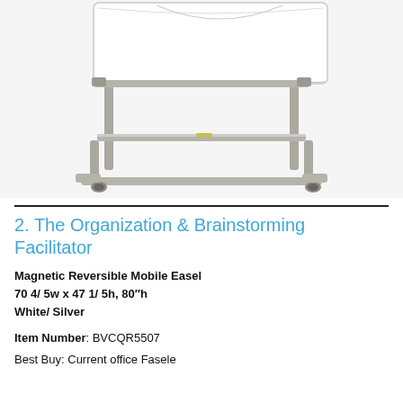[Figure (photo): A magnetic reversible mobile whiteboard easel with silver/grey metal frame on wheels, shown from a slight angle. The whiteboard surface is visible at the top and the frame structure with cross-bar and casters is visible below.]
2. The Organization & Brainstorming Facilitator
Magnetic Reversible Mobile Easel
70 4/ 5w x 47 1/ 5h, 80″h
White/ Silver
Item Number: BVCQR5507
Best Buy: Current office Fasele